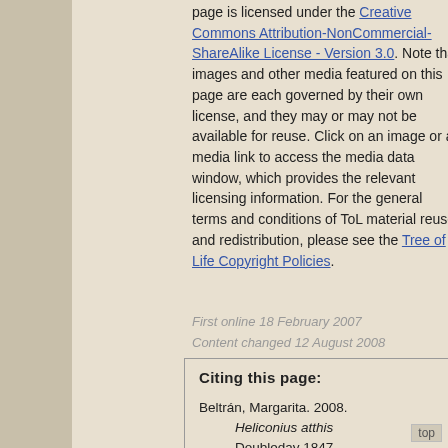page is licensed under the Creative Commons Attribution-NonCommercial-ShareAlike License - Version 3.0. Note that images and other media featured on this page are each governed by their own license, and they may or may not be available for reuse. Click on an image or a media link to access the media data window, which provides the relevant licensing information. For the general terms and conditions of ToL material reuse and redistribution, please see the Tree of Life Copyright Policies.
First online 18 February 2007
Content changed 12 August 2008
Citing this page:

Beltrán, Margarita. 2008. Heliconius atthis Doubleday 1847. Version 12 August 2008 (under construction). http://tolweb.org/Heliconius_atthis/72905/2008.08.12 in The Tree of Life Web Project, http://tolweb.org/

View previous versions